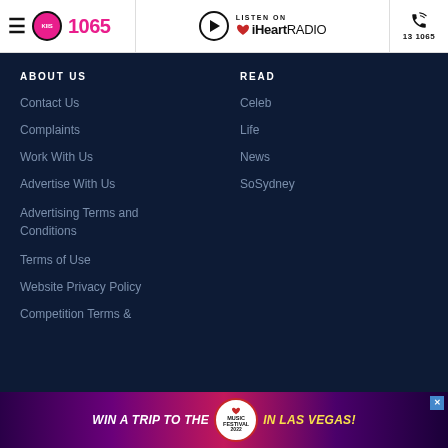KIIS 1065 | LISTEN ON iHeartRADIO | 13 1065
ABOUT US
Contact Us
Complaints
Work With Us
Advertise With Us
Advertising Terms and Conditions
Terms of Use
Website Privacy Policy
Competition Terms &
READ
Celeb
Life
News
SoSydney
[Figure (screenshot): Advertisement banner: WIN A TRIP TO THE iHeart Music Festival 2022 IN LAS VEGAS!]